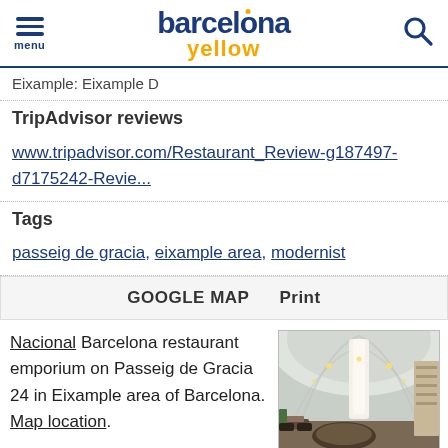barcelona yellow — menu / search
Eixample: Eixample D
TripAdvisor reviews
www.tripadvisor.com/Restaurant_Review-g187497-d7175242-Revie...
Tags
passeig de gracia, eixample area, modernist
GOOGLE MAP   Print
Nacional Barcelona restaurant emporium on Passeig de Gracia 24 in Eixample area of Barcelona. Map location.
[Figure (photo): Interior of Nacional Barcelona restaurant emporium showing large open hall with arched ceiling, hanging lights, circular bar counter, and greenery.]